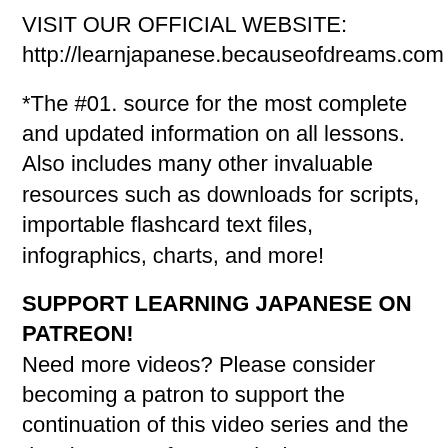VISIT OUR OFFICIAL WEBSITE:
http://learnjapanese.becauseofdreams.com
*The #01. source for the most complete and updated information on all lessons. Also includes many other invaluable resources such as downloads for scripts, importable flashcard text files, infographics, charts, and more!
SUPPORT LEARNING JAPANESE ON PATREON!
Need more videos? Please consider becoming a patron to support the continuation of this video series and the development of our curriculum!